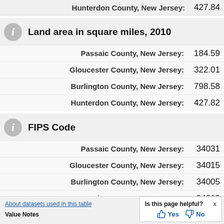| Location | Value |
| --- | --- |
| Hunterdon County, New Jersey: | 427.84 |
Land area in square miles, 2010
| Location | Value |
| --- | --- |
| Passaic County, New Jersey: | 184.59 |
| Gloucester County, New Jersey: | 322.01 |
| Burlington County, New Jersey: | 798.58 |
| Hunterdon County, New Jersey: | 427.82 |
FIPS Code
| Location | Value |
| --- | --- |
| Passaic County, New Jersey: | 34031 |
| Gloucester County, New Jersey: | 34015 |
| Burlington County, New Jersey: | 34005 |
| Hunterdon County, New Jersey: | 34019 |
About datasets used in this table
Value Notes
Is this page helpful? Yes No